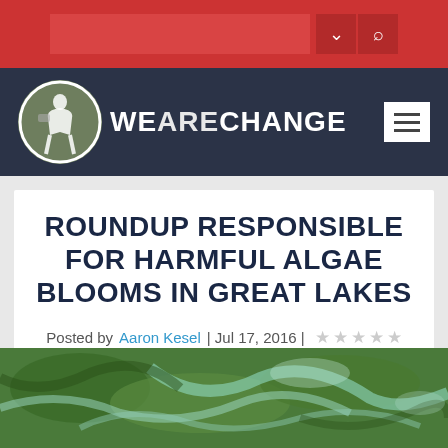WeAreChange website header with search bar and navigation
ROUNDUP RESPONSIBLE FOR HARMFUL ALGAE BLOOMS IN GREAT LAKES
Posted by Aaron Kesel | Jul 17, 2016 |
[Figure (photo): Aerial photo of green algae bloom on water surface of the Great Lakes]